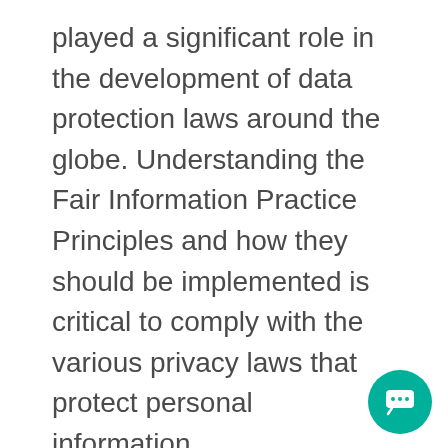played a significant role in the development of data protection laws around the globe. Understanding the Fair Information Practice Principles and how they should be implemented is critical to comply with the various privacy laws that protect personal information.
In order to be in line with Fair Information Practices we will notify you via email within 7 business da should we become aware of a data